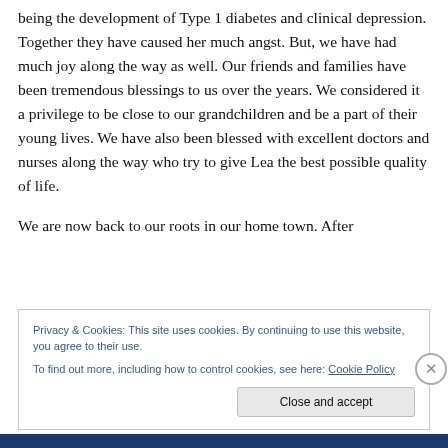being the development of Type 1 diabetes and clinical depression. Together they have caused her much angst. But, we have had much joy along the way as well. Our friends and families have been tremendous blessings to us over the years. We considered it a privilege to be close to our grandchildren and be a part of their young lives. We have also been blessed with excellent doctors and nurses along the way who try to give Lea the best possible quality of life.
We are now back to our roots in our home town. After
Privacy & Cookies: This site uses cookies. By continuing to use this website, you agree to their use.
To find out more, including how to control cookies, see here: Cookie Policy
Close and accept